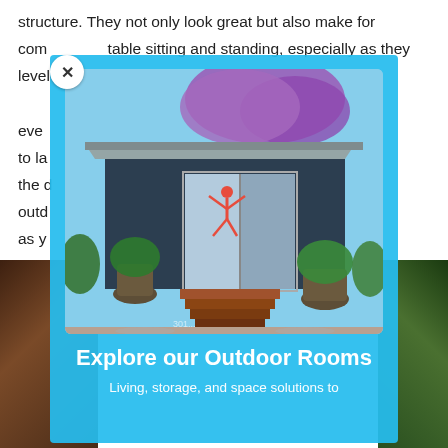structure. They not only look great but also make for comfortable sitting and standing, especially as they level out over time... and to last... provide the outdoor rooms... as you... will help
[Figure (screenshot): Modal popup overlay with light blue background showing a rendered image of a modern outdoor studio/room building with sliding glass doors, wooden steps, potted plants, and a person doing yoga inside. Overlaid on a webpage with background text and dark side images.]
Explore our Outdoor Rooms
Living, storage, and space solutions to